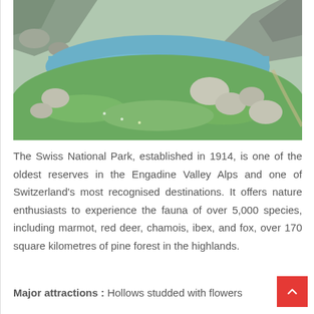[Figure (photo): A scenic alpine lake surrounded by green grassy meadows, large boulders and rocky hillsides in the Engadine Valley Alps, Swiss National Park]
The Swiss National Park, established in 1914, is one of the oldest reserves in the Engadine Valley Alps and one of Switzerland's most recognised destinations. It offers nature enthusiasts to experience the fauna of over 5,000 species, including marmot, red deer, chamois, ibex, and fox, over 170 square kilometres of pine forest in the highlands.
Major attractions : Hollows studded with flowers